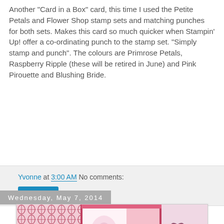Another "Card in a Box" card, this time I used the Petite Petals and Flower Shop stamp sets and matching punches for both sets.  Makes this card so much quicker when Stampin' Up! offer a co-ordinating punch to the stamp set. "Simply stamp and punch".  The colours are Primrose Petals, Raspberry Ripple (these will be retired in June) and Pink Pirouette and Blushing Bride.
Yvonne at 3:00 AM   No comments:
Share
Wednesday, May 7, 2014
[Figure (photo): A 'Card in a Box' birthday card with pink and raspberry/dark pink patterned paper panels, a heart shape stamped with 'Happy Birthday', block letters spelling out letters, and butterfly stamps on a light pink panel.]